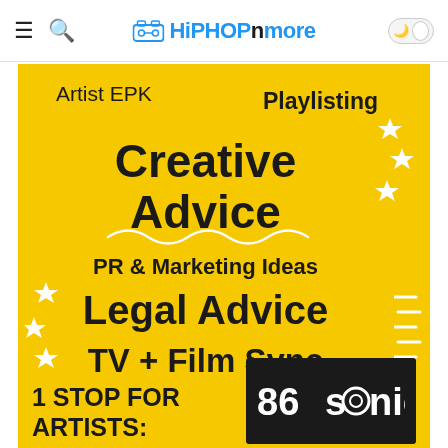HiPHOPnmore
[Figure (infographic): Yellow background infographic listing artist services: Artist EPK, Playlisting, Creative Advice, PR & Marketing Ideas, Legal Advice, TV + Film Sync, with decorative sparkle/diamond shapes and squiggle underline. Bottom section shows '1 STOP FOR ARTISTS:' text and 86sonics logo on black background.]